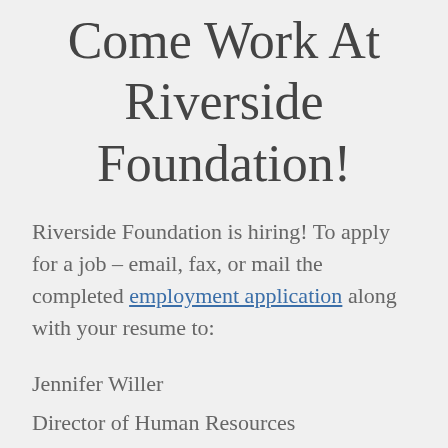Come Work At Riverside Foundation!
Riverside Foundation is hiring! To apply for a job – email, fax, or mail the completed employment application along with your resume to:
Jennifer Willer
Director of Human Resources
Riverside Foundation
14588 West Highway 22